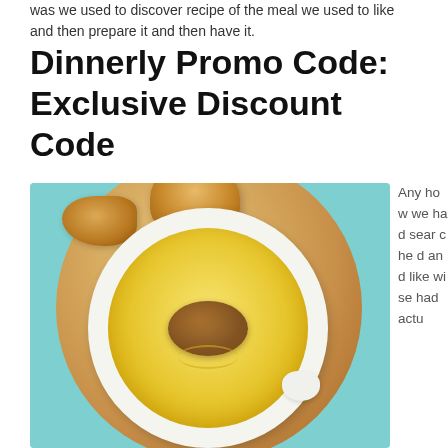was we used to discover recipe of the meal we used to like and then prepare it and then have it.
Dinnerly Promo Code: Exclusive Discount Code
[Figure (photo): Overhead photo of a white bowl of golden yellow soup topped with roasted chickpeas and oil drizzle, on a round wooden board with pieces of rustic bread, on a light teal/cyan background.]
Any how we had searched and like wise had actu